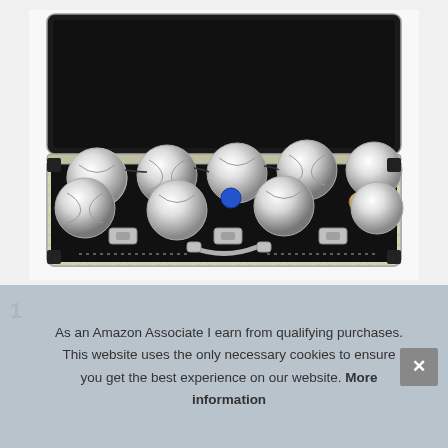[Figure (photo): An open aluminum briefcase/carrying case containing 8 shiny silver petanque/boules balls arranged in two rows, with a small blue jack ball and a cork jack visible in the center. The case has silver metal latches and a handle on the front.]
1
As an Amazon Associate I earn from qualifying purchases. This website uses the only necessary cookies to ensure you get the best experience on our website. More information